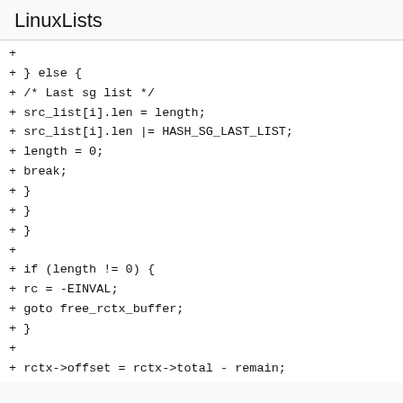LinuxLists
+ } else {
+ /* Last sg list */
+ src_list[i].len = length;
+ src_list[i].len |= HASH_SG_LAST_LIST;
+ length = 0;
+ break;
+ }
+ }
+ }
+
+ if (length != 0) {
+ rc = -EINVAL;
+ goto free_rctx_buffer;
+ }
+
+ rctx->offset = rctx->total - remain;